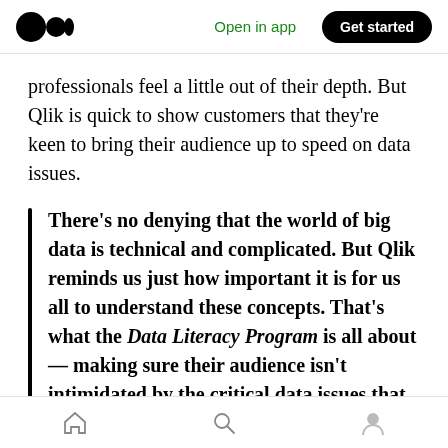Open in app  Get started
professionals feel a little out of their depth. But Qlik is quick to show customers that they're keen to bring their audience up to speed on data issues.
There's no denying that the world of big data is technical and complicated. But Qlik reminds us just how important it is for us all to understand these concepts. That's what the Data Literacy Program is all about — making sure their audience isn't intimidated by the critical data issues that can and will
Home  Search  Profile